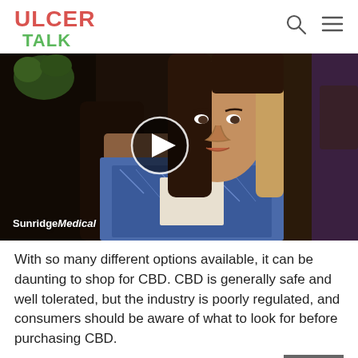ULCER TALK
[Figure (screenshot): Video thumbnail showing a woman with long dark hair wearing a blue patterned scarf, sitting in a chair. A play button circle is overlaid in the center. The SunridgeMedical watermark appears in the bottom left.]
With so many different options available, it can be daunting to shop for CBD. CBD is generally safe and well tolerated, but the industry is poorly regulated, and consumers should be aware of what to look for before purchasing CBD.
CLOSE
Youll want to carefully read the label of any products you are considering and look for: